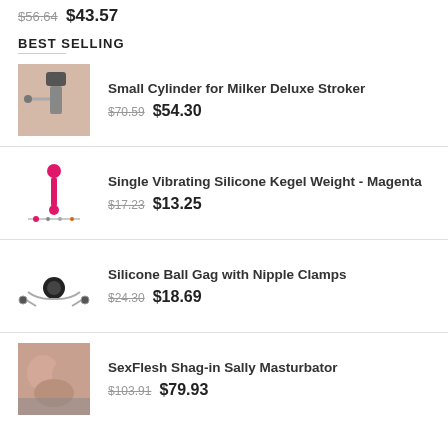$56.64  $43.57
BEST SELLING
Small Cylinder for Milker Deluxe Stroker — $70.59  $54.30
Single Vibrating Silicone Kegel Weight - Magenta — $17.23  $13.25
Silicone Ball Gag with Nipple Clamps — $24.30  $18.69
SexFlesh Shag-in Sally Masturbator — $103.91  $79.93